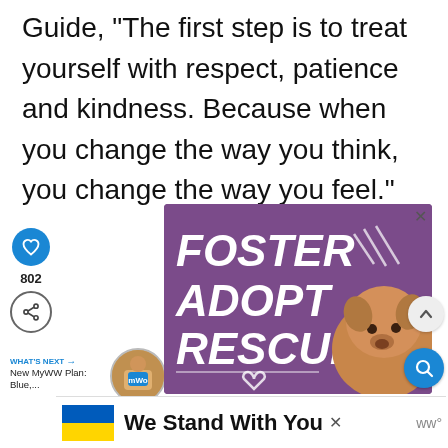Guide, "The first step is to treat yourself with respect, patience and kindness. Because when you change the way you think, you change the way you feel."
[Figure (illustration): Foster Adopt Rescue advertisement banner with purple background showing bold white italic text 'FOSTER ADOPT RESCUE' and a dog photo (tan/brown pit bull). A white heart outline and decorative slash marks are visible. An X close button is in the top right.]
[Figure (screenshot): Bottom banner showing Ukrainian flag (blue and yellow), text 'We Stand With You', an X close button, and a WW logo on the right.]